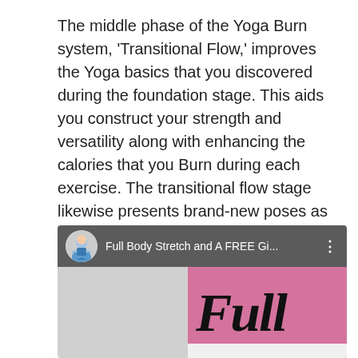The middle phase of the Yoga Burn system, 'Transitional Flow,' improves the Yoga basics that you discovered during the foundation stage. This aids you construct your strength and versatility along with enhancing the calories that you Burn during each exercise. The transitional flow stage likewise presents brand-new poses as well as enables you to see adjustments in your muscular tissue tone by the end of the phase.
[Figure (screenshot): A YouTube video thumbnail showing 'Full Body Stretch and A FREE Gi...' with a circular avatar of a woman in blue top, set against a split background of grey and pink with the word 'Full' in large black italic serif font.]